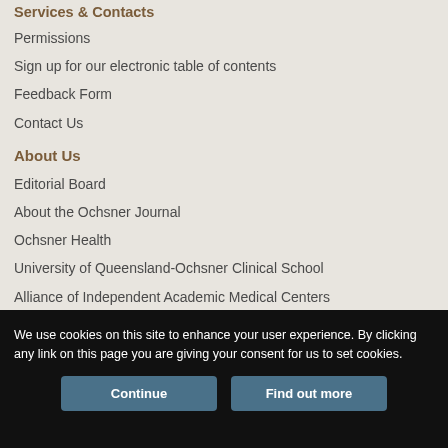Services & Contacts
Permissions
Sign up for our electronic table of contents
Feedback Form
Contact Us
About Us
Editorial Board
About the Ochsner Journal
Ochsner Health
University of Queensland-Ochsner Clinical School
Alliance of Independent Academic Medical Centers
We use cookies on this site to enhance your user experience. By clicking any link on this page you are giving your consent for us to set cookies.
Continue
Find out more